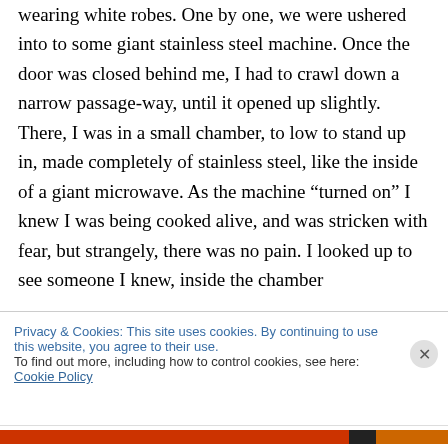wearing white robes. One by one, we were ushered into to some giant stainless steel machine. Once the door was closed behind me, I had to crawl down a narrow passage-way, until it opened up slightly. There, I was in a small chamber, to low to stand up in, made completely of stainless steel, like the inside of a giant microwave. As the machine “turned on” I knew I was being cooked alive, and was stricken with fear, but strangely, there was no pain. I looked up to see someone I knew, inside the chamber
Privacy & Cookies: This site uses cookies. By continuing to use this website, you agree to their use.
To find out more, including how to control cookies, see here: Cookie Policy
Close and accept